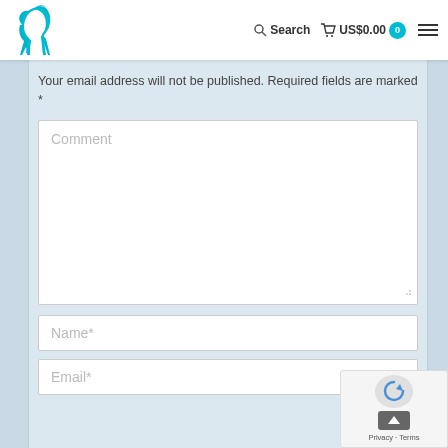[Figure (logo): Teal horse logo in top-left header]
Search  US$0.00  0  ☰
Your email address will not be published. Required fields are marked *
[Figure (screenshot): Comment text area input field with placeholder text 'Comment']
[Figure (screenshot): Name input field with placeholder 'Name*']
[Figure (screenshot): Email input field with placeholder 'Email*']
[Figure (other): reCAPTCHA widget overlay with Privacy and Terms links in bottom-right corner]